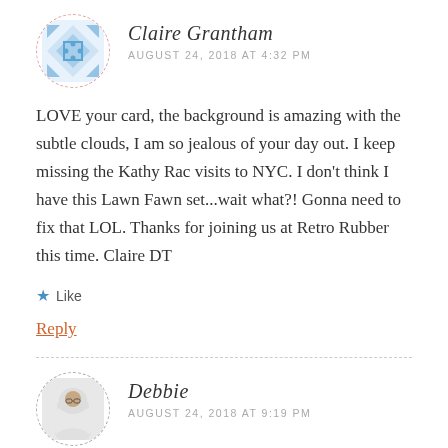[Figure (photo): Circular avatar with dashed red border showing a blue geometric/diamond pattern design]
Claire Grantham
AUGUST 24, 2018 AT 4:32 PM
LOVE your card, the background is amazing with the subtle clouds, I am so jealous of your day out. I keep missing the Kathy Rac visits to NYC. I don't think I have this Lawn Fawn set...wait what?! Gonna need to fix that LOL. Thanks for joining us at Retro Rubber this time. Claire DT
Like
Reply
[Figure (photo): Circular avatar with dashed gray border showing a woman wearing a white hijab and glasses]
Debbie
AUGUST 24, 2018 AT 9:19 PM